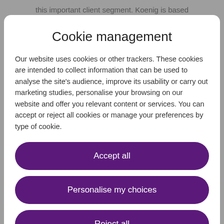this important client segment. Koenig is based
Cookie management
Our website uses cookies or other trackers. These cookies are intended to collect information that can be used to analyse the site's audience, improve its usability or carry out marketing studies, personalise your browsing on our website and offer you relevant content or services. You can accept or reject all cookies or manage your preferences by type of cookie.
Accept all
Personalise my choices
Reject all